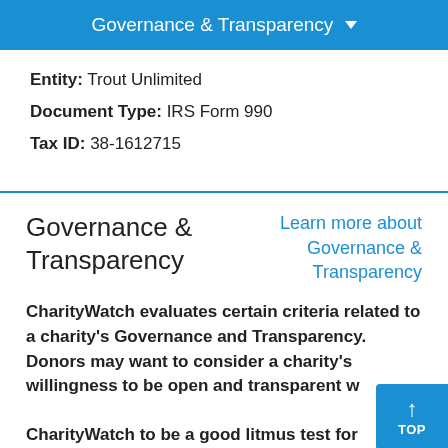Governance & Transparency
Entity: Trout Unlimited
Document Type: IRS Form 990
Tax ID: 38-1612715
Governance & Transparency
Learn more about Governance & Transparency
CharityWatch evaluates certain criteria related to a charity's Governance and Transparency. Donors may want to consider a charity's willingness to be open and transparent w... CharityWatch to be a good litmus test for